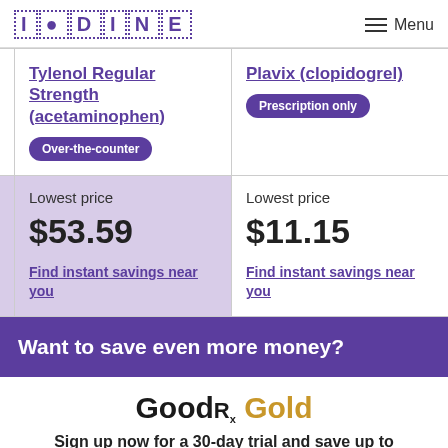IODINE  Menu
Tylenol Regular Strength (acetaminophen) Over-the-counter
Plavix (clopidogrel) Prescription only
Lowest price $53.59 Find instant savings near you
Lowest price $11.15 Find instant savings near you
Want to save even more money?
[Figure (logo): GoodRx Gold logo]
Sign up now for a 30-day trial and save up to